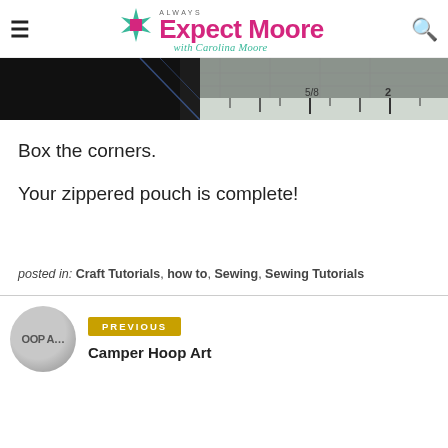Always Expect Moore with Carolina Moore
[Figure (photo): Close-up photo of a ruler on a cutting mat, dark background with measurement markings visible]
Box the corners.
Your zippered pouch is complete!
posted in: Craft Tutorials, how to, Sewing, Sewing Tutorials
PREVIOUS
Camper Hoop Art